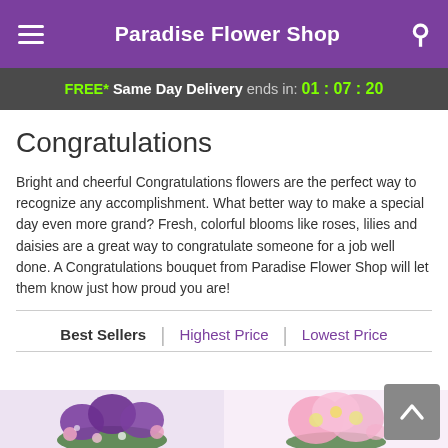Paradise Flower Shop
FREE* Same Day Delivery ends in: 01:07:20
Congratulations
Bright and cheerful Congratulations flowers are the perfect way to recognize any accomplishment. What better way to make a special day even more grand? Fresh, colorful blooms like roses, lilies and daisies are a great way to congratulate someone for a job well done. A Congratulations bouquet from Paradise Flower Shop will let them know just how proud you are!
Best Sellers | Highest Price | Lowest Price
[Figure (photo): Two flower arrangements visible at the bottom: purple/pink bouquet on left, pink daisy bouquet on right]